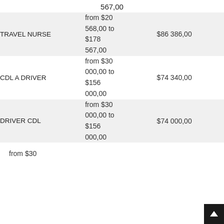567,00
| Job Title | Salary Range | Average |
| --- | --- | --- |
| TRAVEL NURSE | from $20 568,00 to $178 567,00 | $86 386,00 |
| CDL A DRIVER | from $30 000,00 to $156 000,00 | $74 340,00 |
| DRIVER CDL | from $30 000,00 to $156 000,00 | $74 000,00 |
from $30